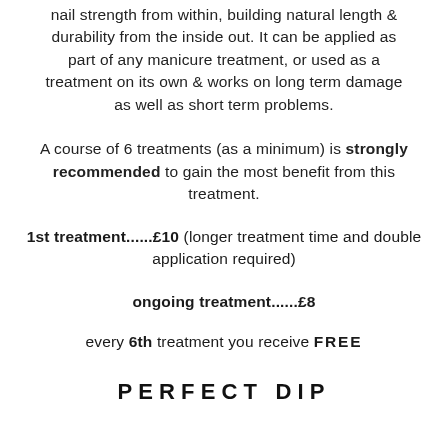nail strength from within, building natural length & durability from the inside out. It can be applied as part of any manicure treatment, or used as a treatment on its own & works on long term damage as well as short term problems.
A course of 6 treatments (as a minimum) is strongly recommended to gain the most benefit from this treatment.
1st treatment......£10 (longer treatment time and double application required)
ongoing treatment......£8
every 6th treatment you receive FREE
PERFECT DIP